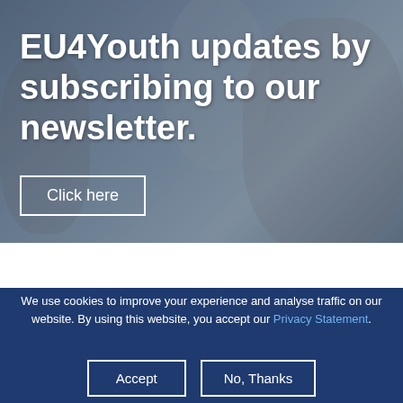[Figure (photo): Background photo of young people writing or drawing on a large paper on a table, with the EU flag visible. Image has a dark blue overlay.]
EU4Youth updates by subscribing to our newsletter.
Click here
We use cookies to improve your experience and analyse traffic on our website. By using this website, you accept our Privacy Statement.
Accept
No, Thanks